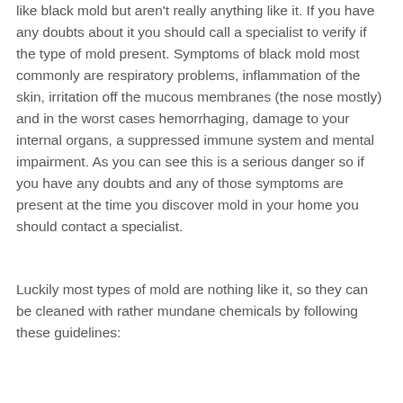like black mold but aren't really anything like it. If you have any doubts about it you should call a specialist to verify if the type of mold present. Symptoms of black mold most commonly are respiratory problems, inflammation of the skin, irritation off the mucous membranes (the nose mostly) and in the worst cases hemorrhaging, damage to your internal organs, a suppressed immune system and mental impairment. As you can see this is a serious danger so if you have any doubts and any of those symptoms are present at the time you discover mold in your home you should contact a specialist.
Luckily most types of mold are nothing like it, so they can be cleaned with rather mundane chemicals by following these guidelines: